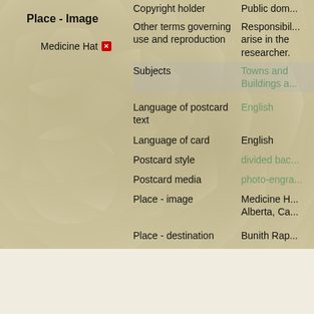Place - Image
Medicine Hat
| Field | Value |
| --- | --- |
| Copyright holder | Public dom... |
| Other terms governing use and reproduction | Responsibilities arise in the researcher. |
| Subjects | Towns and Buildings a... |
| Language of postcard text | English |
| Language of card | English |
| Postcard style | divided bac... |
| Postcard media | photo-engra... |
| Place - image | Medicine H... Alberta, Ca... |
| Place - destination | Bunith Rap... |
| Permanent Link | http://digital... |
This si...